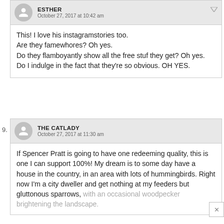ESTHER
October 27, 2017 at 10:42 am
This! I love his instagramstories too. Are they famewhores? Oh yes. Do they flamboyantly show all the free stuf they get? Oh yes. Do I indulge in the fact that they're so obvious. OH YES.
9. THE CATLADY
October 27, 2017 at 11:30 am
If Spencer Pratt is going to have one redeeming quality, this is one I can support 100%! My dream is to some day have a house in the country, in an area with lots of hummingbirds. Right now I'm a city dweller and get nothing at my feeders but gluttonous sparrows, with an occasional woodpecker brightening the landscape.